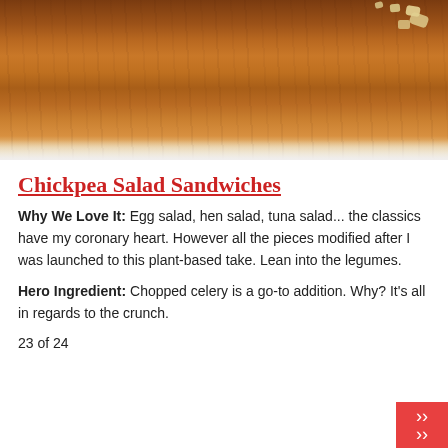[Figure (photo): Close-up photo of a wooden cutting board with crumbs/chickpea pieces on it, warm brown tones]
Chickpea Salad Sandwiches
Why We Love It: Egg salad, hen salad, tuna salad... the classics have my coronary heart. However all the pieces modified after I was launched to this plant-based take. Lean into the legumes.
Hero Ingredient: Chopped celery is a go-to addition. Why? It's all in regards to the crunch.
23 of 24